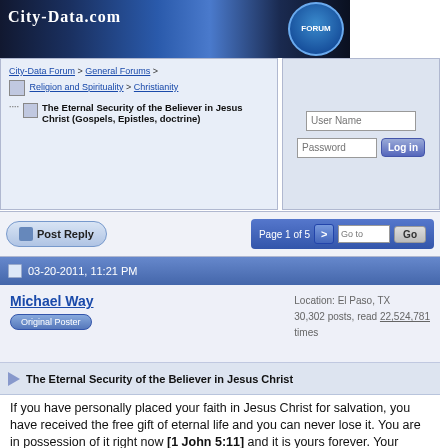[Figure (screenshot): City-Data.com forum header banner with city skyline image and FORUM badge]
City-Data Forum > General Forums > Religion and Spirituality > Christianity
The Eternal Security of the Believer in Jesus Christ (Gospels, Epistles, doctrine)
User Name
Password
Log in
Post Reply   Page 1 of 5  >  Go to  Go
03-20-2011, 11:21 PM
Michael Way
Original Poster
Location: El Paso, TX
30,302 posts, read 22,524,781 times
The Eternal Security of the Believer in Jesus Christ
If you have personally placed your faith in Jesus Christ for salvation, you have received the free gift of eternal life and you can never lose it. You are in possession of it right now [1 John 5:11] and it is yours forever. Your eternal salvation is by means of grace alone, through faith alone, in Christ alone [Eph 2:8,9].

Just as you did nothing to earn salvation, neither can you do anything to maintain it or to lose it. Eternal salvation is offered as a free gift which is received by the placing of one's faith in